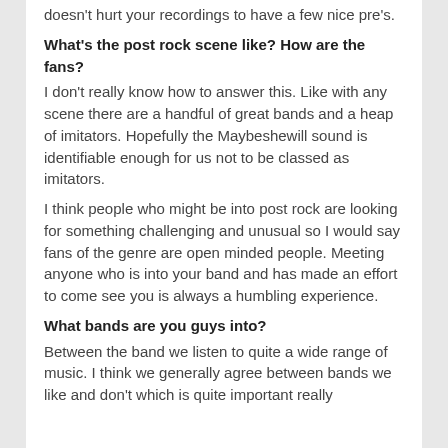doesn't hurt your recordings to have a few nice pre's.
What's the post rock scene like? How are the fans?
I don't really know how to answer this. Like with any scene there are a handful of great bands and a heap of imitators. Hopefully the Maybeshewill sound is identifiable enough for us not to be classed as imitators.
I think people who might be into post rock are looking for something challenging and unusual so I would say fans of the genre are open minded people. Meeting anyone who is into your band and has made an effort to come see you is always a humbling experience.
What bands are you guys into?
Between the band we listen to quite a wide range of music. I think we generally agree between bands we like and don't which is quite important really